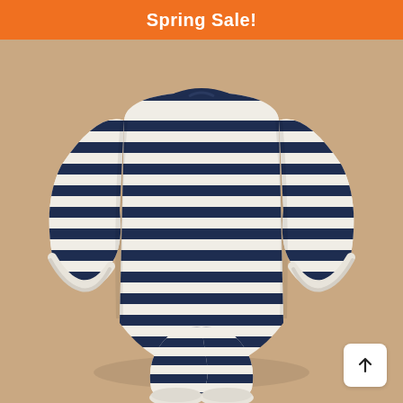Spring Sale!
[Figure (photo): Back view of a navy blue and white horizontal striped baby romper/onesie with long sleeves and leg cuffs, laid flat on a tan/beige background. The romper has a round neckline and shows the back snap closure area.]